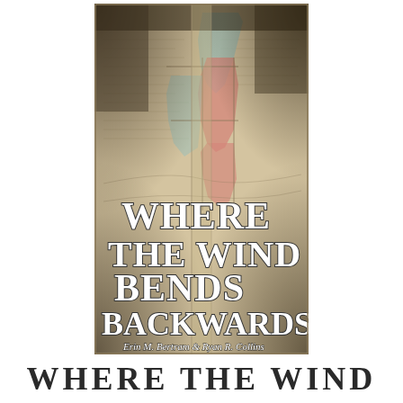[Figure (illustration): Book cover of 'Where the Wind Bends Backwards' by Erin M. Bertram & Ryan R. Collins. Features an antique map background with muted pinks, teal, and beige colors showing a historical map of what appears to be the American Midwest/Plains region. The book title is displayed in large white serif text with dark outline, and author names appear in italic serif text at the bottom of the cover.]
WHERE THE WIND